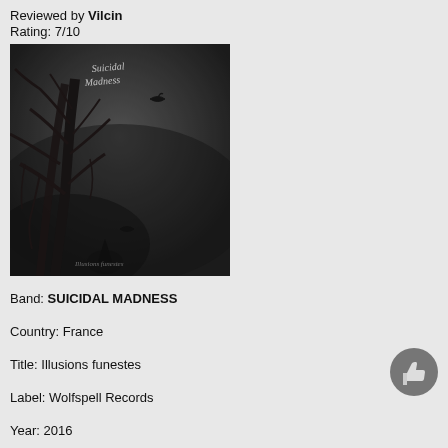Reviewed by Vilcin
Rating: 7/10
[Figure (photo): Album cover for Suicidal Madness - Illusions funestes. Dark atmospheric image featuring bare winter trees, a bird in flight, and a dark misty background. White stylized text reads 'Suicidal Madness' at top. Small text at bottom reads 'Illusions funestes'.]
Band: SUICIDAL MADNESS
Country: France
Title: Illusions funestes
Label: Wolfspell Records
Year: 2016
Style: Depressive Black Metal
Review:
Let's start with a bit of background: in 2011, Molasar, drummer in P.H.T.O., commited suicide at the age of 43 (as a side-note, but very important for this review, he also did session drumming for Suicidal Madness' debut demo the same year). His friends, and especially Alrinack (who also wrote for Pest Webzine at a point in time), founded Molasar's Dreams, a gathering of Depressive Suicidal Black Metal bands that are seemingly trying to honor Molasar's memory. Suicidal Madness reached now their second full-length album with Illusions funestes, an almost 50 minutes long effort made of 6 new tracks plus intro and outro following paths previously opened by Burzum, Shining and especially their countrymen Nocturnal Depression. A slow paced, ice-cold, depressive to the core, helpless and hopeless